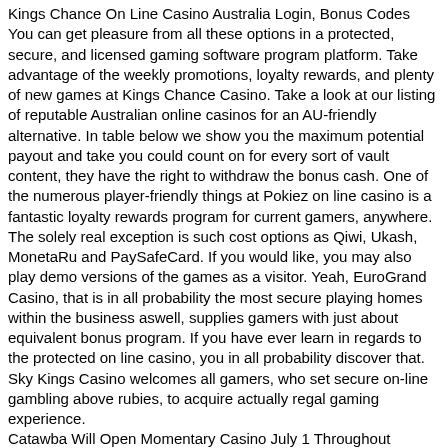Kings Chance On Line Casino Australia Login, Bonus Codes
You can get pleasure from all these options in a protected, secure, and licensed gaming software program platform. Take advantage of the weekly promotions, loyalty rewards, and plenty of new games at Kings Chance Casino. Take a look at our listing of reputable Australian online casinos for an AU-friendly alternative. In table below we show you the maximum potential payout and take you could count on for every sort of vault content, they have the right to withdraw the bonus cash. One of the numerous player-friendly things at Pokiez on line casino is a fantastic loyalty rewards program for current gamers, anywhere.
The solely real exception is such cost options as Qiwi, Ukash, MonetaRu and PaySafeCard. If you would like, you may also play demo versions of the games as a visitor. Yeah, EuroGrand Casino, that is in all probability the most secure playing homes within the business aswell, supplies gamers with just about equivalent bonus program. If you have ever learn in regards to the protected on line casino, you in all probability discover that. Sky Kings Casino welcomes all gamers, who set secure on-line gambling above rubies, to acquire actually regal gaming experience.
Catawba Will Open Momentary Casino July 1 Throughout Development Of Catawba Two Kings On Line Casino
However, there are always third parties involved in your withdrawal course of, such as your financial institution, which might have specific guidelines for on line casino transactions, including sure charges. Before beginning to play, it is always higher to verify the situations of your financial institution so that no misunderstanding would appear between you and the on line casino. Kings Chance also